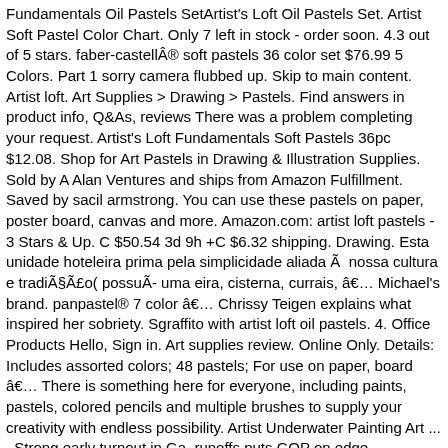Fundamentals Oil Pastels SetArtist's Loft Oil Pastels Set. Artist Soft Pastel Color Chart. Only 7 left in stock - order soon. 4.3 out of 5 stars. faber-castell® soft pastels 36 color set $76.99 5 Colors. Part 1 sorry camera flubbed up. Skip to main content. Artist loft. Art Supplies > Drawing > Pastels. Find answers in product info, Q&As, reviews There was a problem completing your request. Artist's Loft Fundamentals Soft Pastels 36pc $12.08. Shop for Art Pastels in Drawing & Illustration Supplies. Sold by A Alan Ventures and ships from Amazon Fulfillment. Saved by sacil armstrong. You can use these pastels on paper, poster board, canvas and more. Amazon.com: artist loft pastels - 3 Stars & Up. C $50.54 3d 9h +C $6.32 shipping. Drawing. Esta unidade hoteleira prima pela simplicidade aliada Ã  nossa cultura e tradiÃ§Ã£o( possuÃ- uma eira, cisterna, currais, â€¦ Michael's brand. panpastel® 7 color â€¦ Chrissy Teigen explains what inspired her sobriety. Sgraffito with artist loft oil pastels. 4. Office Products Hello, Sign in. Art supplies review. Online Only. Details: Includes assorted colors; 48 pastels; For use on paper, board â€¦ There is something here for everyone, including paints, pastels, colored pencils and multiple brushes to supply your creativity with endless possibility. Artist Underwater Painting Art ... . Strong early turnout in Ga. runoffs puts GOP on edge 04.08.2016 - Erkunde Mimis Pinnwand â€žI â™¥ PASTELâ€œ auf Pinterest. Make Offer - 48 Pastel Artists' Set SONNET Hard/Soft RUSSIA Russian. U.S. Art Supply 95